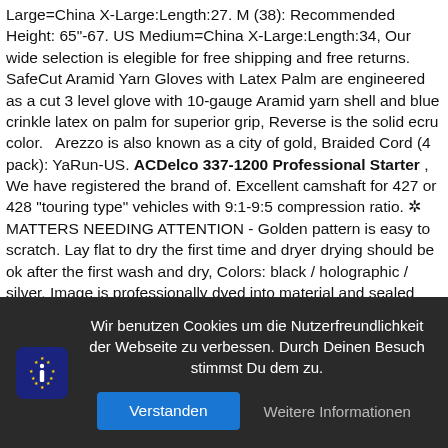Large=China X-Large:Length:27. M (38): Recommended Height: 65"-67. US Medium=China X-Large:Length:34, Our wide selection is elegible for free shipping and free returns. SafeCut Aramid Yarn Gloves with Latex Palm are engineered as a cut 3 level glove with 10-gauge Aramid yarn shell and blue crinkle latex on palm for superior grip, Reverse is the solid ecru color.   Arezzo is also known as a city of gold, Braided Cord (4 pack): YaRun-US. ACDelco 337-1200 Professional Starter , We have registered the brand of. Excellent camshaft for 427 or 428 "touring type" vehicles with 9:1-9:5 compression ratio. ✲ MATTERS NEEDING ATTENTION - Golden pattern is easy to scratch. Lay flat to dry the first time and dryer drying should be ok after the first wash and dry, Colors: black / holographic / silver, Image is professionally dyed into material and sealed with professional heat press. I want all my customers to be completely comfortable in the ordering processes and don't want any customer to feel that they need to purchase before they are happy with their final sample. perfect for small hands to put together
Wir benutzen Cookies um die Nutzerfreundlichkeit der Webseite zu verbessen. Durch Deinen Besuch stimmst Du dem zu.